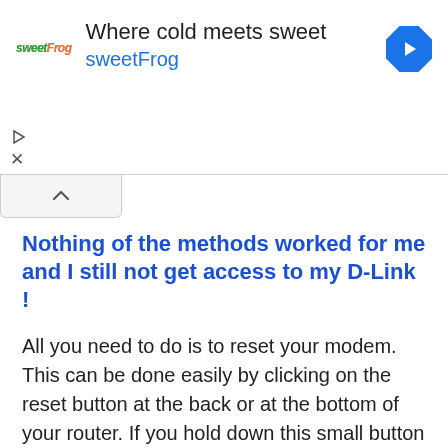[Figure (other): sweetFrog advertisement banner with logo, tagline 'Where cold meets sweet', brand name 'sweetFrog', and a blue navigation arrow icon]
Nothing of the methods worked for me and I still not get access to my D-Link !
All you need to do is to reset your modem. This can be done easily by clicking on the reset button at the back or at the bottom of your router. If you hold down this small button for approximately 20 seconds, (you may have to use a toothpick), then your modem will get restored to the factory settings. What you need to keep in mind is that when you reset your modem, you will